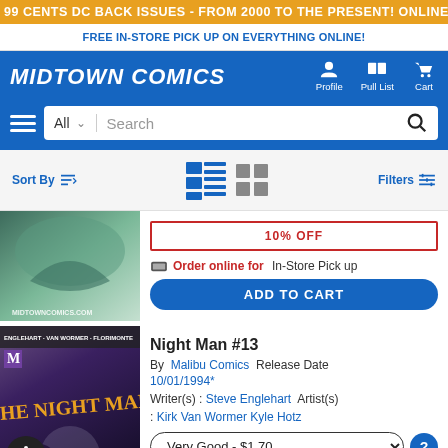99 CENTS DC BACK ISSUES - FROM 2000 TO THE PRESENT! ONLINE ONLY, TODAY ONLY!
FREE IN-STORE PICK UP ON EVERYTHING ONLINE!
[Figure (logo): Midtown Comics logo with Profile, Pull List, Cart navigation icons]
[Figure (screenshot): Search bar with All dropdown and Search field]
Sort By | view toggle icons | Filters
[Figure (photo): Partial comic book cover image with MIDTOWNCOMICS.COM watermark]
10% OFF
Order online for In-Store Pick up
ADD TO CART
Night Man #13
By Malibu Comics Release Date 10/01/1994* Writer(s) : Steve Englehart Artist(s) : Kirk Van Wormer Kyle Hotz
Very Good - $1.70